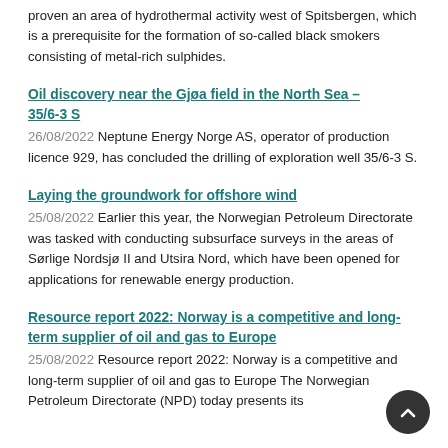proven an area of hydrothermal activity west of Spitsbergen, which is a prerequisite for the formation of so-called black smokers consisting of metal-rich sulphides.
Oil discovery near the Gjøa field in the North Sea – 35/6-3 S
26/08/2022 Neptune Energy Norge AS, operator of production licence 929, has concluded the drilling of exploration well 35/6-3 S.
Laying the groundwork for offshore wind
25/08/2022 Earlier this year, the Norwegian Petroleum Directorate was tasked with conducting subsurface surveys in the areas of Sørlige Nordsjø II and Utsira Nord, which have been opened for applications for renewable energy production.
Resource report 2022: Norway is a competitive and long-term supplier of oil and gas to Europe
25/08/2022 Resource report 2022: Norway is a competitive and long-term supplier of oil and gas to Europe The Norwegian Petroleum Directorate (NPD) today presents its